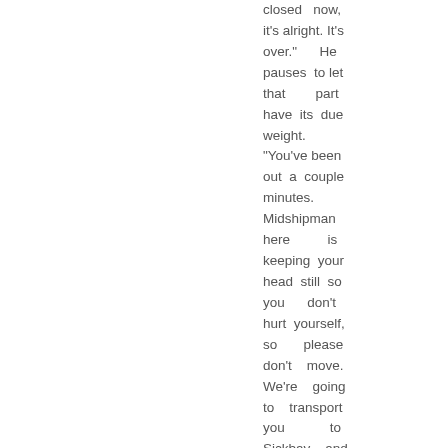closed now, it's alright. It's over." He pauses to let that part have its due weight.
"You've been out a couple minutes. Midshipman here is keeping your head still so you don't hurt yourself, so please don't move. We're going to transport you to Sickbay and get you checked out. I need you